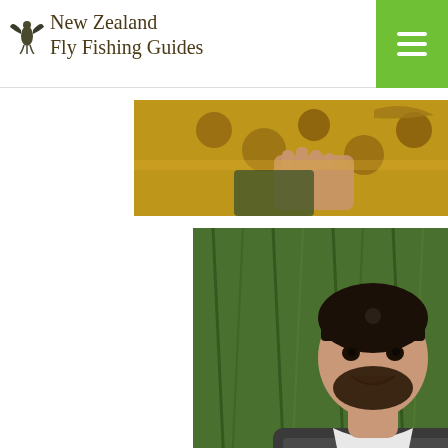New Zealand Fly Fishing Guides
[Figure (photo): Close-up of hands holding a large spotted trout — yellow-brown coloring with dark spots visible]
[Figure (photo): Man wearing a fishing vest and bandana smiling and holding a large brown trout, standing in front of green grass/flax]
[Figure (photo): Person wearing sunglasses holding a large fish near a river with green trees in background]